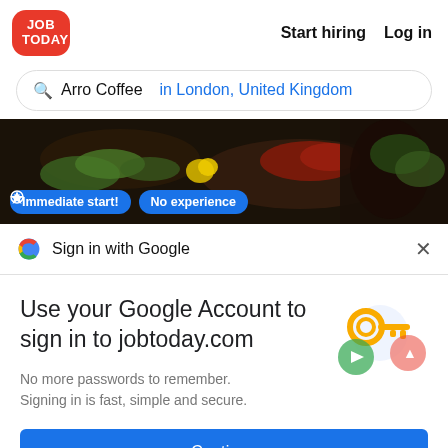[Figure (logo): JOB TODAY red rounded square logo]
Start hiring   Log in
Arro Coffee  in London, United Kingdom
[Figure (photo): Food plate with greens and vegetables on dark background, badges: Immediate start! No experience]
Sign in with Google
Use your Google Account to sign in to jobtoday.com
No more passwords to remember. Signing in is fast, simple and secure.
Continue